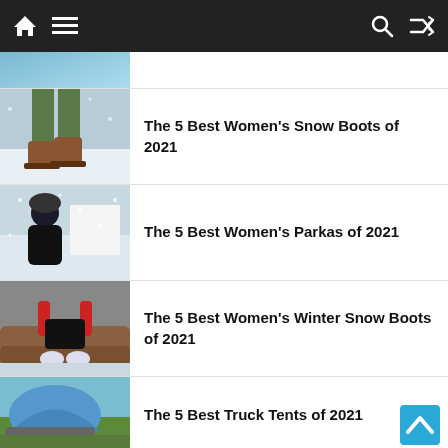Navigation bar with home, menu, search, and shuffle icons
[Figure (photo): Partial top image cropped at top]
The 5 Best Women's Snow Boots of 2021
The 5 Best Women's Parkas of 2021
The 5 Best Women's Winter Snow Boots of 2021
The 5 Best Truck Tents of 2021